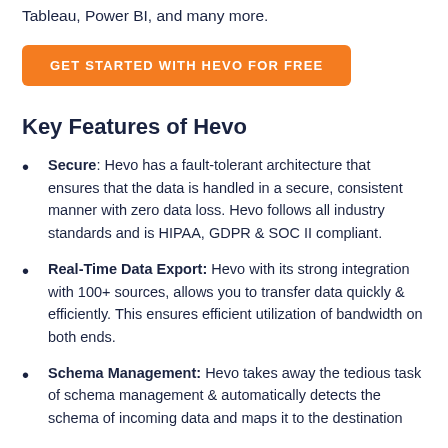Tableau, Power BI, and many more.
GET STARTED WITH HEVO FOR FREE
Key Features of Hevo
Secure: Hevo has a fault-tolerant architecture that ensures that the data is handled in a secure, consistent manner with zero data loss. Hevo follows all industry standards and is HIPAA, GDPR & SOC II compliant.
Real-Time Data Export: Hevo with its strong integration with 100+ sources, allows you to transfer data quickly & efficiently. This ensures efficient utilization of bandwidth on both ends.
Schema Management: Hevo takes away the tedious task of schema management & automatically detects the schema of incoming data and maps it to the destination